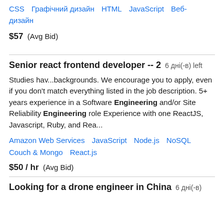CSS  Графічний дизайн  HTML  JavaScript  Веб-дизайн
$57  (Avg Bid)
Senior react frontend developer -- 2  6 дні(-в) left
Studies hav...backgrounds. We encourage you to apply, even if you don't match everything listed in the job description. 5+ years experience in a Software Engineering and/or Site Reliability Engineering role Experience with one ReactJS, Javascript, Ruby, and Rea...
Amazon Web Services  JavaScript  Node.js  NoSQL Couch & Mongo  React.js
$50 / hr  (Avg Bid)
Looking for a drone engineer in China  6 дні(-в)